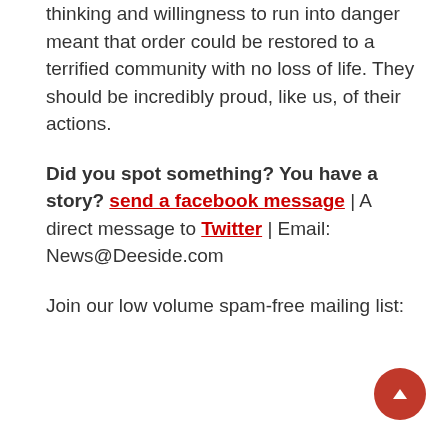thinking and willingness to run into danger meant that order could be restored to a terrified community with no loss of life. They should be incredibly proud, like us, of their actions.
Did you spot something? You have a story? send a facebook message | A direct message to Twitter | Email: News@Deeside.com
Join our low volume spam-free mailing list: